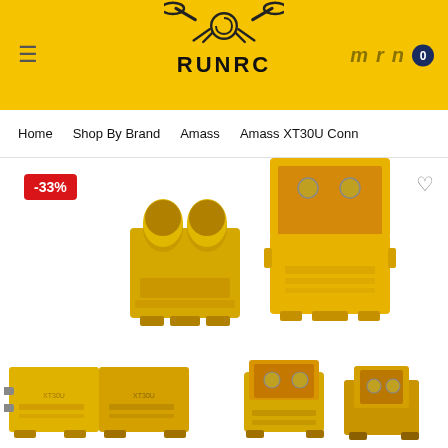[Figure (logo): RUNRC logo with drone/quad wings icon on yellow header background]
Home    Shop By Brand    Amass    Amass XT30U Conn
[Figure (photo): Amass XT30U connectors - male and female yellow connectors shown side by side, with -33% discount badge]
[Figure (photo): Two thumbnail images of XT30U connectors from different angles at bottom of page]